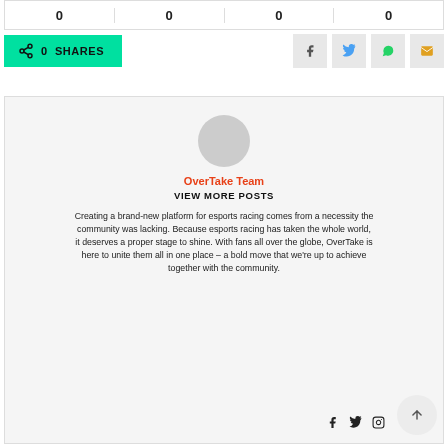| 0 | 0 | 0 | 0 |
| --- | --- | --- | --- |
0   SHARES
OverTake Team
VIEW MORE POSTS

Creating a brand-new platform for esports racing comes from a necessity the community was lacking. Because esports racing has taken the whole world, it deserves a proper stage to shine. With fans all over the globe, OverTake is here to unite them all in one place – a bold move that we're up to achieve together with the community.